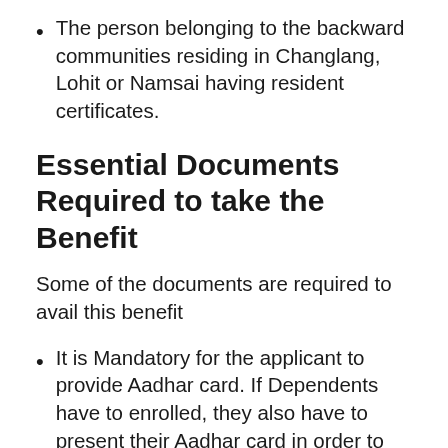The person belonging to the backward communities residing in Changlang, Lohit or Namsai having resident certificates.
Essential Documents Required to take the Benefit
Some of the documents are required to avail this benefit
It is Mandatory for the applicant to provide Aadhar card. If Dependents have to enrolled, they also have to present their Aadhar card in order to establish the proof of their relationship